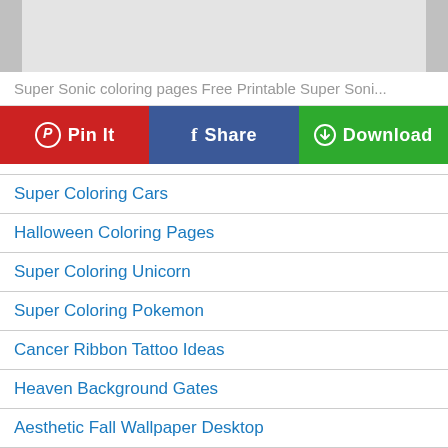[Figure (other): Top image placeholder area with gray panels on left and right]
Super Sonic coloring pages Free Printable Super Soni...
[Figure (infographic): Three action buttons: Pin It (red/Pinterest), Share (blue/Facebook), Download (green)]
Super Coloring Cars
Halloween Coloring Pages
Super Coloring Unicorn
Super Coloring Pokemon
Cancer Ribbon Tattoo Ideas
Heaven Background Gates
Aesthetic Fall Wallpaper Desktop
Honda Hrc Nsr
Ancient Wire Wrap Jewelry